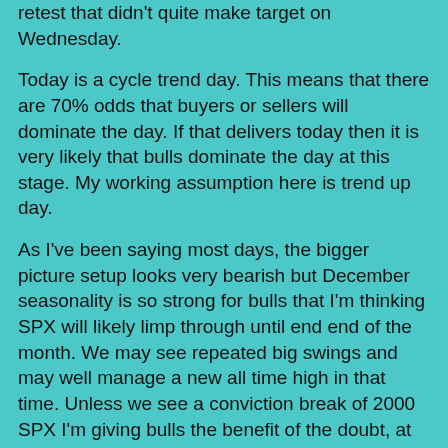retest that didn't quite make target on Wednesday.
Today is a cycle trend day. This means that there are 70% odds that buyers or sellers will dominate the day. If that delivers today then it is very likely that bulls dominate the day at this stage. My working assumption here is trend up day.
As I've been saying most days, the bigger picture setup looks very bearish but December seasonality is so strong for bulls that I'm thinking SPX will likely limp through until end end of the month. We may see repeated big swings and may well manage a new all time high in that time. Unless we see a conviction break of 2000 SPX I'm giving bulls the benefit of the doubt, at least to hold the 2000-2100 area.
This is proving to be an unusually interesting December across various markets. Stan and I are doing a free to all Chart chat at the theartofchart.net on Sunday afternoon at 4pm EST and we will be reviewing all of these markets and more there. You can sign up for that here. Unless you have quality TA or are entirely indifferent to being on the right side